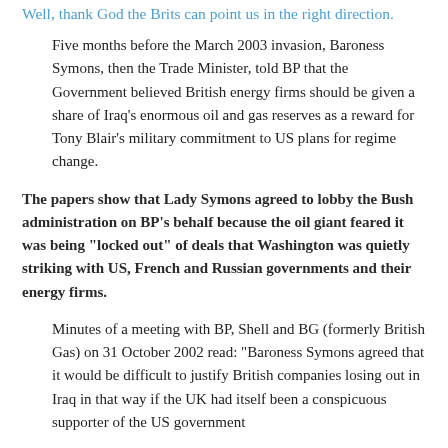Well, thank God the Brits can point us in the right direction.
Five months before the March 2003 invasion, Baroness Symons, then the Trade Minister, told BP that the Government believed British energy firms should be given a share of Iraq's enormous oil and gas reserves as a reward for Tony Blair's military commitment to US plans for regime change.
The papers show that Lady Symons agreed to lobby the Bush administration on BP's behalf because the oil giant feared it was being "locked out" of deals that Washington was quietly striking with US, French and Russian governments and their energy firms.
Minutes of a meeting with BP, Shell and BG (formerly British Gas) on 31 October 2002 read: "Baroness Symons agreed that it would be difficult to justify British companies losing out in Iraq in that way if the UK had itself been a conspicuous supporter of the US government